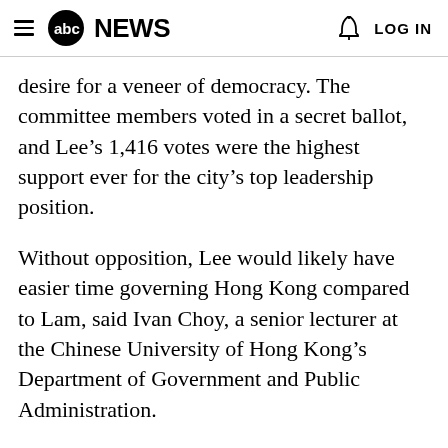abc NEWS   LOG IN
desire for a veneer of democracy. The committee members voted in a secret ballot, and Lee's 1,416 votes were the highest support ever for the city's top leadership position.
Without opposition, Lee would likely have easier time governing Hong Kong compared to Lam, said Ivan Choy, a senior lecturer at the Chinese University of Hong Kong’s Department of Government and Public Administration.
“A major reason for easier governance is that the electoral system has changed,” he said. “In the [next text continues below]